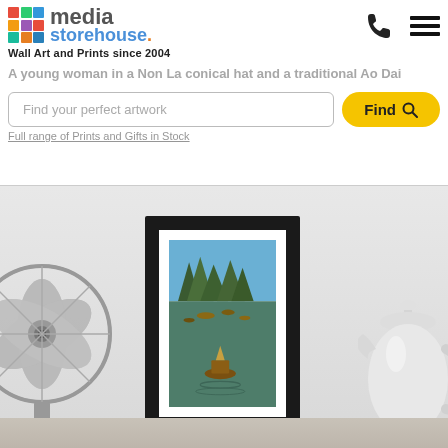[Figure (logo): Media Storehouse logo with colorful grid icon, media in gray, storehouse in blue]
Wall Art and Prints since 2004
A young woman in a Non La conical hat and a traditional Ao Dai
Find your perfect artwork
Full range of Prints and Gifts in Stock
[Figure (screenshot): Room scene showing a framed print of Ha Long Bay with boats on water and karst mountains, flanked by a metal fan on the left and a white teapot on the right, against a light gray wall]